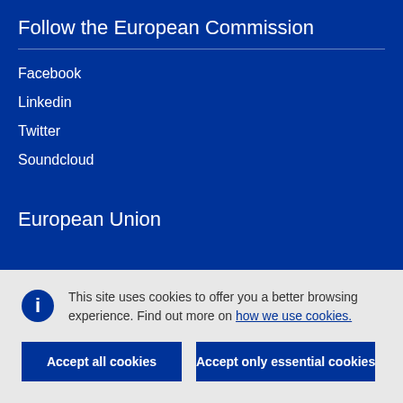Follow the European Commission
Facebook
Linkedin
Twitter
Soundcloud
European Union
This site uses cookies to offer you a better browsing experience. Find out more on how we use cookies.
Accept all cookies
Accept only essential cookies